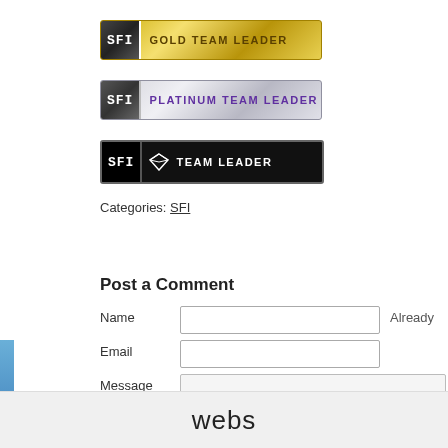[Figure (logo): SFI Gold Team Leader badge - gold gradient banner with SFI logo box and text GOLD TEAM LEADER]
[Figure (logo): SFI Platinum Team Leader badge - silver/gray gradient banner with SFI logo box and purple text PLATINUM TEAM LEADER]
[Figure (logo): SFI Diamond Team Leader badge - black banner with SFI logo box, diamond icon, and white text TEAM LEADER]
Categories: SFI
Share
Post a Comment
Name
Email
Message
Already
webs